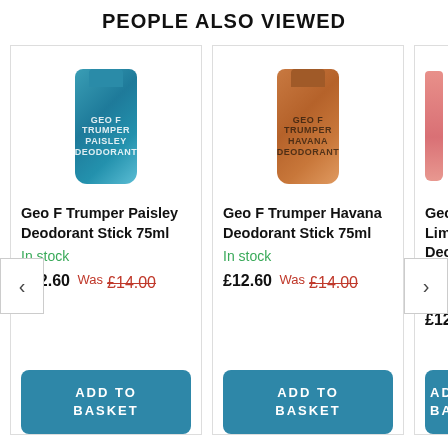PEOPLE ALSO VIEWED
[Figure (photo): Geo F Trumper Paisley Deodorant Stick product image - blue cylindrical container]
Geo F Trumper Paisley Deodorant Stick 75ml
In stock
£12.60 Was £14.00
ADD TO BASKET
[Figure (photo): Geo F Trumper Havana Deodorant Stick product image - copper cylindrical container]
Geo F Trumper Havana Deodorant Stick 75ml
In stock
£12.60 Was £14.00
ADD TO BASKET
[Figure (photo): Geo F Trumper Limes Deodorant Stick product image - partially visible pink container]
Geo F Trumper Limes Deodo... 75ml
In stock
£12.60
AD BA